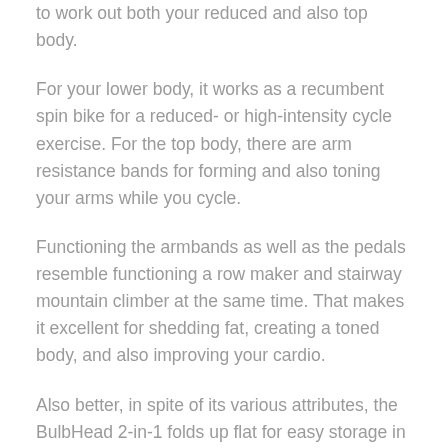to work out both your reduced and also top body.
For your lower body, it works as a recumbent spin bike for a reduced- or high-intensity cycle exercise. For the top body, there are arm resistance bands for forming and also toning your arms while you cycle.
Functioning the armbands as well as the pedals resemble functioning a row maker and stairway mountain climber at the same time. That makes it excellent for shedding fat, creating a toned body, and also improving your cardio.
Also better, in spite of its various attributes, the BulbHead 2-in-1 folds up flat for easy storage in wardrobes, under the bed, as well as various other areas.